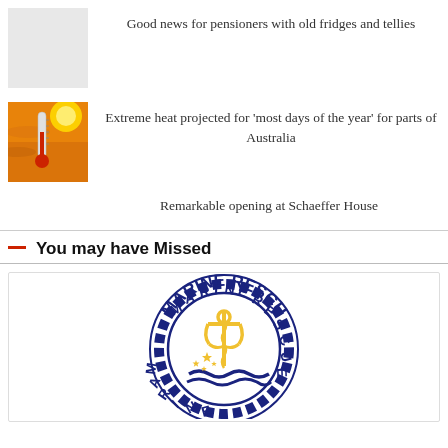[Figure (photo): Light grey placeholder thumbnail image]
Good news for pensioners with old fridges and tellies
[Figure (photo): Thermometer against orange sky with bright sun, extreme heat concept]
Extreme heat projected for ‘most days of the year’ for parts of Australia
Remarkable opening at Schaeffer House
You may have Missed
[Figure (logo): Marine Rescue circular logo with rope border, navy blue text reading MARINE RESCUE, yellow anchor with serpent, stars and blue waves in center]